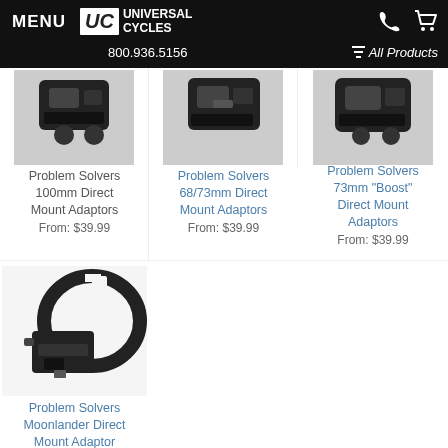MENU | UC Universal Cycles | 800.936.5156 | All Products
[Figure (photo): Product photo of Problem Solvers 100mm Direct Mount Adaptors (partially cropped at top)]
Problem Solvers 100mm Direct Mount Adaptors
From: $39.99
[Figure (photo): Product photo of Problem Solvers 68/73mm Direct Mount Adaptors (partially cropped at top)]
Problem Solvers 68/73mm Direct Mount Adaptors
From: $39.99
[Figure (photo): Product photo of Problem Solvers 73mm Boost Direct Mount Adaptors (partially cropped at top)]
Problem Solvers 73mm "Boost" Direct Mount Adaptors
From: $39.99
[Figure (photo): Product photo of Problem Solvers Moonlander Direct Mount Adaptor - black clamp/bracket component]
Problem Solvers Moonlander Direct Mount Adaptor
From: $39.99